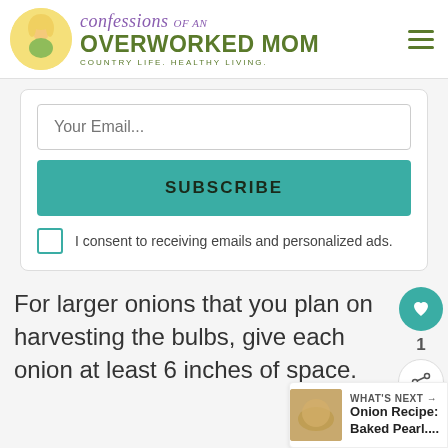confessions OF AN OVERWORKED MOM — COUNTRY LIFE. HEALTHY LIVING.
Your Email...
SUBSCRIBE
I consent to receiving emails and personalized ads.
For larger onions that you plan on harvesting the bulbs, give each onion at least 6 inches of space.
WHAT'S NEXT → Onion Recipe: Baked Pearl....